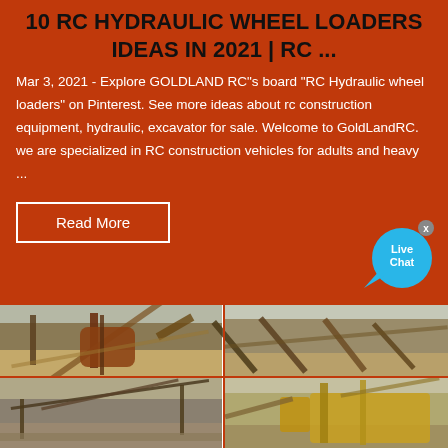10 RC HYDRAULIC WHEEL LOADERS IDEAS IN 2021 | RC ...
Mar 3, 2021 - Explore GOLDLAND RC"s board "RC Hydraulic wheel loaders" on Pinterest. See more ideas about rc construction equipment, hydraulic, excavator for sale. Welcome to GoldLandRC. we are specialized in RC construction vehicles for adults and heavy ...
[Figure (other): Read More button element on orange background]
[Figure (other): Live Chat speech bubble widget with close X button]
[Figure (photo): Grid of four industrial mining/quarry conveyor belt and crushing equipment photos]